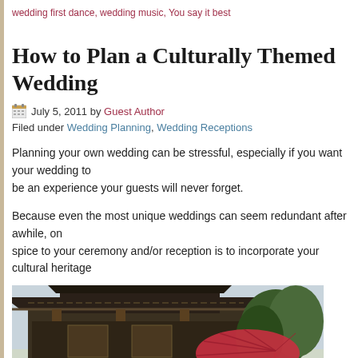wedding first dance, wedding music, You say it best
How to Plan a Culturally Themed Wedding
July 5, 2011 by Guest Author
Filed under Wedding Planning, Wedding Receptions
Planning your own wedding can be stressful, especially if you want your wedding to be an experience your guests will never forget.
Because even the most unique weddings can seem redundant after awhile, one way to spice to your ceremony and/or reception is to incorporate your cultural heritage
[Figure (photo): Traditional Japanese wedding ceremony outside a temple/shrine with people in formal attire and a woman holding a red parasol umbrella]